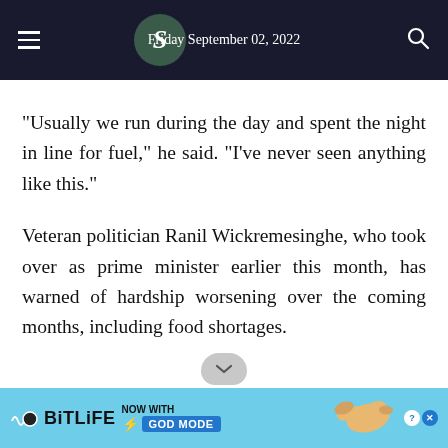Friday September 02, 2022
"Usually we run during the day and spent the night in line for fuel," he said. "I've never seen anything like this."
Veteran politician Ranil Wickremesinghe, who took over as prime minister earlier this month, has warned of hardship worsening over the coming months, including food shortages.